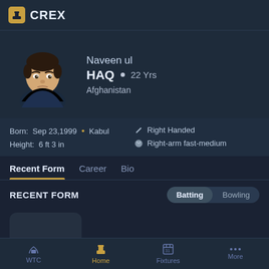CREX
[Figure (illustration): Animated avatar/illustration of cricket player Naveen ul Haq, dark-themed cartoon face with dark hair]
Naveen ul
HAQ • 22 Yrs
Afghanistan
Born: Sep 23,1999 • Kabul   Right Handed
Height: 6 ft 3 in    Right-arm fast-medium
Recent Form   Career   Bio
RECENT FORM
Batting   Bowling
WTC   Home   Fixtures   More